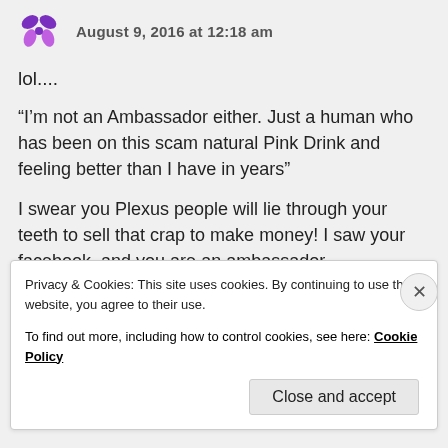August 9, 2016 at 12:18 am
lol....
“I’m not an Ambassador either. Just a human who has been on this scam natural Pink Drink and feeling better than I have in years”
I swear you Plexus people will lie through your teeth to sell that crap to make money! I saw your facebook, and you are an ambassador
★ Liked by 1 person
Privacy & Cookies: This site uses cookies. By continuing to use this website, you agree to their use.
To find out more, including how to control cookies, see here: Cookie Policy
Close and accept